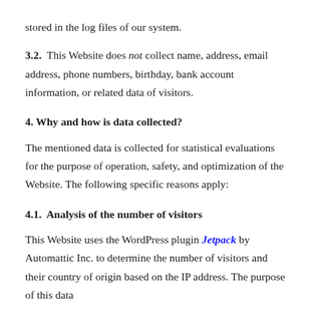stored in the log files of our system.
3.2. This Website does not collect name, address, email address, phone numbers, birthday, bank account information, or related data of visitors.
4. Why and how is data collected?
The mentioned data is collected for statistical evaluations for the purpose of operation, safety, and optimization of the Website. The following specific reasons apply:
4.1. Analysis of the number of visitors
This Website uses the WordPress plugin Jetpack by Automattic Inc. to determine the number of visitors and their country of origin based on the IP address. The purpose of this data